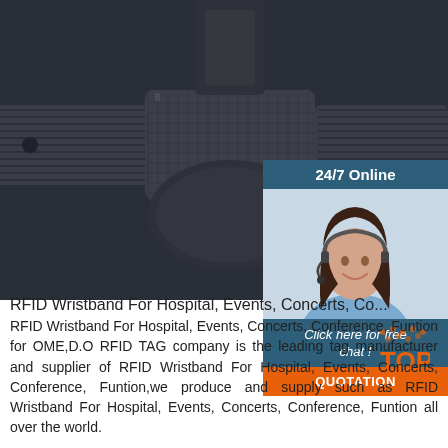[Figure (photo): Close-up photo of a black RFID wristband/bracelet with nylon strap and oval RFID chip housing, shown on dark background]
[Figure (photo): 24/7 Online customer service widget showing a smiling woman with headset, with 'Click here for free chat!' text and orange QUOTATION button]
RFID Wristband For Hospital, Events, Concerts, Co...
RFID Wristband For Hospital, Events, Concerts, Conference, Funtion for OME,D.O RFID TAG company is the leading tag manufacturer and supplier of RFID Wristband For Hospital, Events, Concerts, Conference, Funtion,we produce and supply such as RFID Wristband For Hospital, Events, Concerts, Conference, Funtion all over the world.